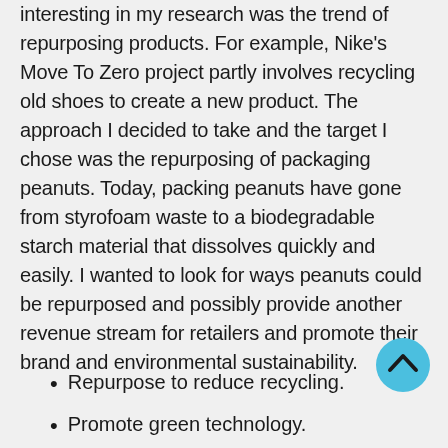interesting in my research was the trend of repurposing products. For example, Nike's Move To Zero project partly involves recycling old shoes to create a new product. The approach I decided to take and the target I chose was the repurposing of packaging peanuts. Today, packing peanuts have gone from styrofoam waste to a biodegradable starch material that dissolves quickly and easily. I wanted to look for ways peanuts could be repurposed and possibly provide another revenue stream for retailers and promote their brand and environmental sustainability.
[Figure (other): A cyan/light-blue circular button with an upward-pointing chevron arrow, used as a scroll-to-top navigation button.]
Repurpose to reduce recycling.
Promote green technology.